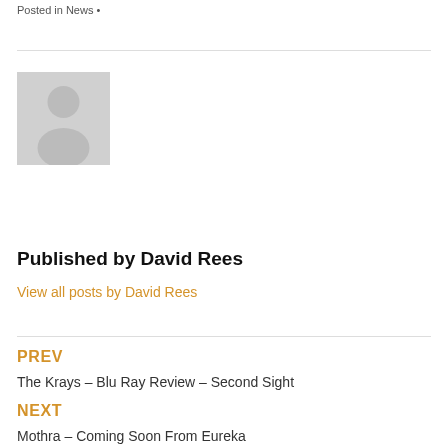Posted in News •
[Figure (illustration): Gray placeholder avatar image showing a silhouetted person icon on a light gray background]
Published by David Rees
View all posts by David Rees
PREV
The Krays – Blu Ray Review – Second Sight
NEXT
Mothra – Coming Soon From Eureka